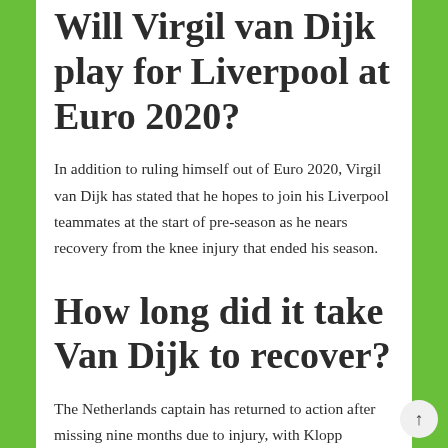Will Virgil van Dijk play for Liverpool at Euro 2020?
In addition to ruling himself out of Euro 2020, Virgil van Dijk has stated that he hopes to join his Liverpool teammates at the start of pre-season as he nears recovery from the knee injury that ended his season.
How long did it take Van Dijk to recover?
The Netherlands captain has returned to action after missing nine months due to injury, with Klopp praising the 30-year-old as “the finest centre-half in the world.”
Is Van Dijk back